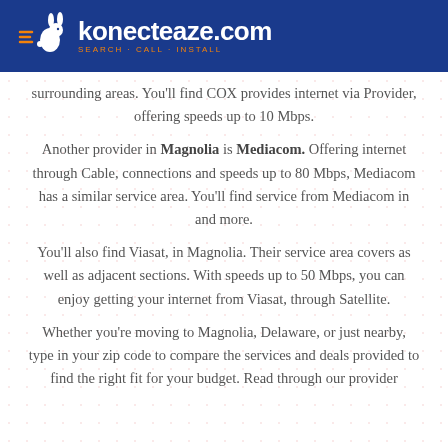konecteaze.com — SEARCH · CALL · INSTALL
surrounding areas. You'll find COX provides internet via Provider, offering speeds up to 10 Mbps.
Another provider in Magnolia is Mediacom. Offering internet through Cable, connections and speeds up to 80 Mbps, Mediacom has a similar service area. You'll find service from Mediacom in and more.
You'll also find Viasat, in Magnolia. Their service area covers as well as adjacent sections. With speeds up to 50 Mbps, you can enjoy getting your internet from Viasat, through Satellite.
Whether you're moving to Magnolia, Delaware, or just nearby, type in your zip code to compare the services and deals provided to find the right fit for your budget. Read through our provider